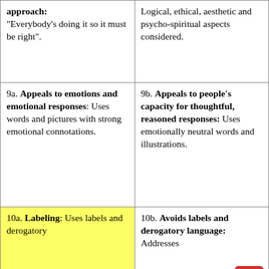| approach: "Everybody's doing it so it must be right". | Logical, ethical, aesthetic and psycho-spiritual aspects considered. |
| 9a. Appeals to emotions and emotional responses: Uses words and pictures with strong emotional connotations. | 9b. Appeals to people's capacity for thoughtful, reasoned responses: Uses emotionally neutral words and illustrations. |
| 10a. Labeling: Uses labels and derogatory [highlighted] | 10b. Avoids labels and derogatory language: Addresses |